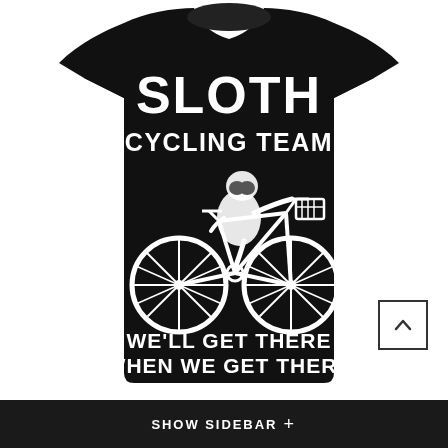[Figure (illustration): A black t-shirt with white text and illustration. Text reads 'SLOTH CYCLING TEAM' in large bold letters at the top, followed by an illustration of a sloth riding a bicycle with a basket, then the text 'WE'LL GET THERE WHEN WE GET THERE' below.]
SHOW SIDEBAR +